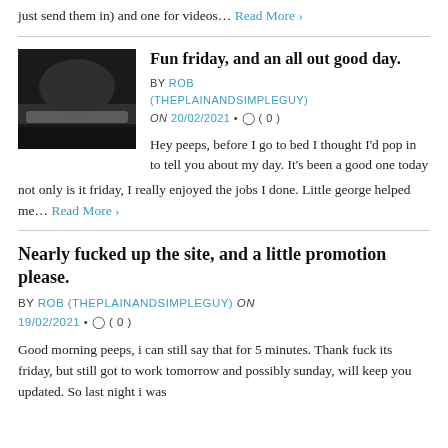just send them in) and one for videos… Read More ›
Fun friday, and an all out good day.
BY ROB (THEPLAINANDSIMPLEGUY) on 20/02/2021 • ◯ ( 0 )
[Figure (photo): Dark thumbnail photo, possibly showing bedding or fabric in low light]
Hey peeps, before I go to bed I thought I'd pop in to tell you about my day. It's been a good one today not only is it friday, I really enjoyed the jobs I done. Little george helped me… Read More ›
Nearly fucked up the site, and a little promotion please.
BY ROB (THEPLAINANDSIMPLEGUY) on 19/02/2021 • ◯ ( 0 )
Good morning peeps, i can still say that for 5 minutes. Thank fuck its friday, but still got to work tomorrow and possibly sunday, will keep you updated. So last night i was